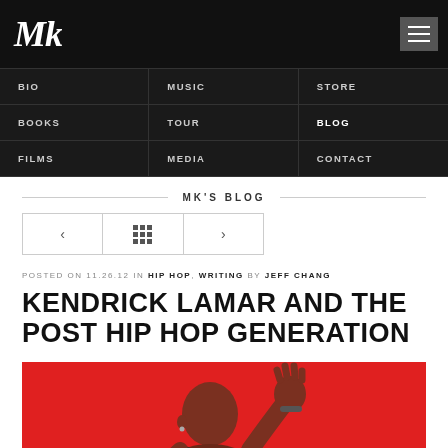MKS logo / navigation: BIO, MUSIC, STORE, BOOKS, TOUR, BLOG, FILMS, MEDIA, CONTACT
MK'S BLOG
POSTED ON 11.26.12 IN HIP HOP, WRITING BY JEFF CHANG
KENDRICK LAMAR AND THE POST HIP HOP GENERATION
[Figure (photo): Performer singing into microphone against red background with hand raised]